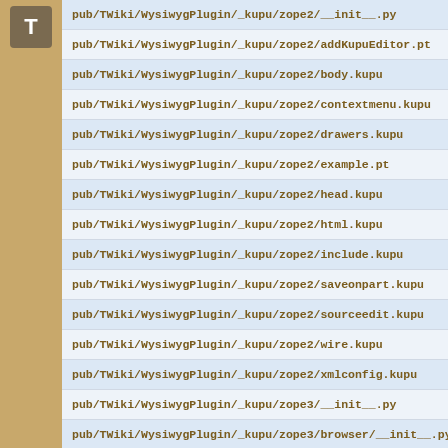[Figure (other): Brown/tan icon box with letter T]
pub/TWiki/WysiwygPlugin/_kupu/zope2/__init__.py
pub/TWiki/WysiwygPlugin/_kupu/zope2/addKupuEditor.pt
pub/TWiki/WysiwygPlugin/_kupu/zope2/body.kupu
pub/TWiki/WysiwygPlugin/_kupu/zope2/contextmenu.kupu
pub/TWiki/WysiwygPlugin/_kupu/zope2/drawers.kupu
pub/TWiki/WysiwygPlugin/_kupu/zope2/example.pt
pub/TWiki/WysiwygPlugin/_kupu/zope2/head.kupu
pub/TWiki/WysiwygPlugin/_kupu/zope2/html.kupu
pub/TWiki/WysiwygPlugin/_kupu/zope2/include.kupu
pub/TWiki/WysiwygPlugin/_kupu/zope2/saveonpart.kupu
pub/TWiki/WysiwygPlugin/_kupu/zope2/sourceedit.kupu
pub/TWiki/WysiwygPlugin/_kupu/zope2/wire.kupu
pub/TWiki/WysiwygPlugin/_kupu/zope2/xmlconfig.kupu
pub/TWiki/WysiwygPlugin/_kupu/zope3/__init__.py
pub/TWiki/WysiwygPlugin/_kupu/zope3/browser/__init__.py
pub/TWiki/WysiwygPlugin/_kupu/zope3/browser/configure.zo
pub/TWiki/WysiwygPlugin/_kupu/configure.zcml